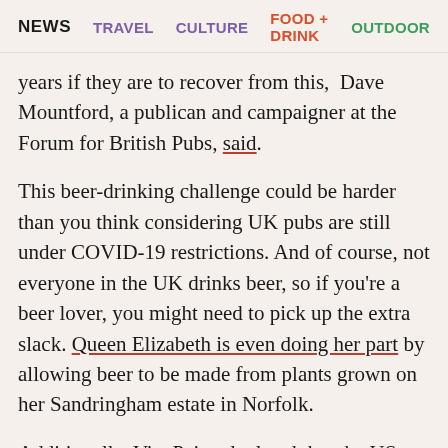NEWS  TRAVEL  CULTURE  FOOD + DRINK  OUTDOOR
years if they are to recover from this,  Dave Mountford, a publican and campaigner at the Forum for British Pubs, said.
This beer-drinking challenge could be harder than you think considering UK pubs are still under COVID-19 restrictions. And of course, not everyone in the UK drinks beer, so if you're a beer lover, you might need to pick up the extra slack. Queen Elizabeth is even doing her part by allowing beer to be made from plants grown on her Sandringham estate in Norfolk.
Additionally, VinePair calculated that the US suffered a loss of $240 billion along with 2.5 million